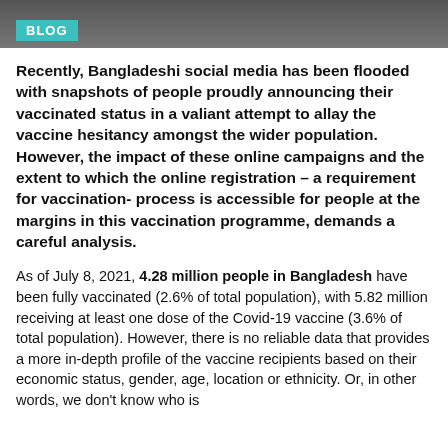BLOG
Recently, Bangladeshi social media has been flooded with snapshots of people proudly announcing their vaccinated status in a valiant attempt to allay the vaccine hesitancy amongst the wider population. However, the impact of these online campaigns and the extent to which the online registration – a requirement for vaccination- process is accessible for people at the margins in this vaccination programme, demands a careful analysis.
As of July 8, 2021, 4.28 million people in Bangladesh have been fully vaccinated (2.6% of total population), with 5.82 million receiving at least one dose of the Covid-19 vaccine (3.6% of total population). However, there is no reliable data that provides a more in-depth profile of the vaccine recipients based on their economic status, gender, age, location or ethnicity. Or, in other words, we don't know who is